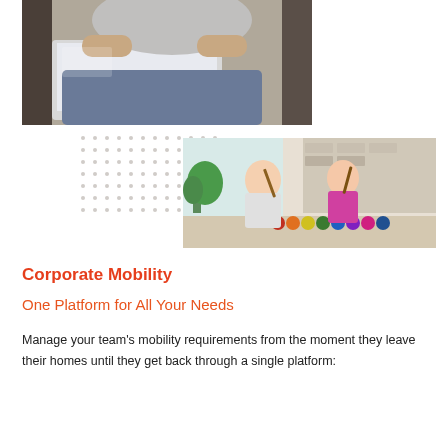[Figure (photo): Man working on a laptop, arms crossed, seated on a couch]
[Figure (photo): Two children (girls) painting at a table, smiling, with paint supplies in front of them]
Corporate Mobility
One Platform for All Your Needs
Manage your team's mobility requirements from the moment they leave their homes until they get back through a single platform: